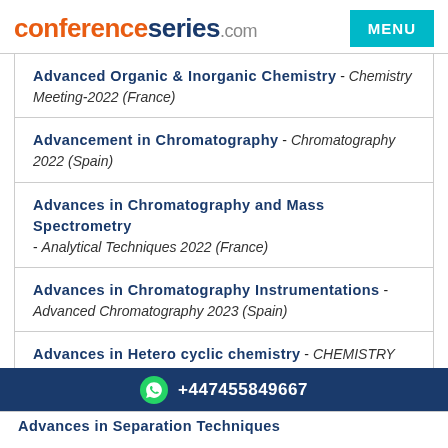conferenceseries.com MENU
Advanced Organic & Inorganic Chemistry - Chemistry Meeting-2022 (France)
Advancement in Chromatography - Chromatography 2022 (Spain)
Advances in Chromatography and Mass Spectrometry - Analytical Techniques 2022 (France)
Advances in Chromatography Instrumentations - Advanced Chromatography 2023 (Spain)
Advances in Hetero cyclic chemistry - CHEMISTRY CONGRESS 2022 (Ireland)
Advances in Separation Techniques - ANALYTICAL CONF
+447455849667
Advances in Separation Techniques (continued)